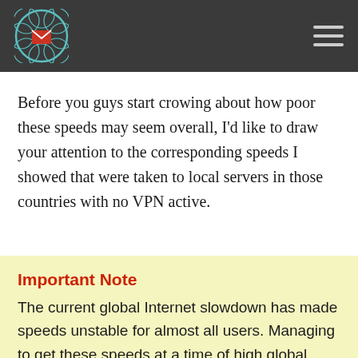[Figure (logo): Circular geometric logo with teal/blue lines forming a floral/mandala pattern with a red envelope in the center, on dark header bar]
Before you guys start crowing about how poor these speeds may seem overall, I'd like to draw your attention to the corresponding speeds I showed that were taken to local servers in those countries with no VPN active.
Important Note
The current global Internet slowdown has made speeds unstable for almost all users. Managing to get these speeds at a time of high global data loads is still impressive in this case, so give FastestVPN a break for the time